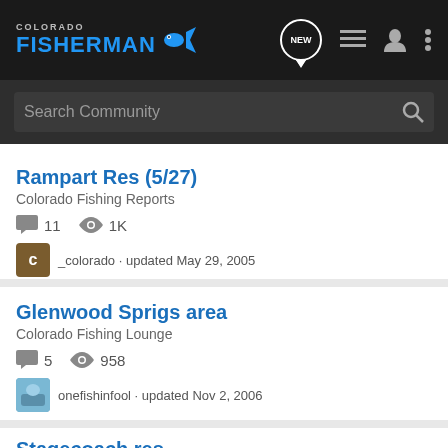Colorado Fisherman — navigation header with search
Rampart Res (5/27)
Colorado Fishing Reports
11 comments · 1K views
_colorado · updated May 29, 2005
Glenwood Sprigs area
Colorado Fishing Lounge
5 comments · 958 views
onefishinfool · updated Nov 2, 2006
Stagecoach res
Colorado Fishing Reports